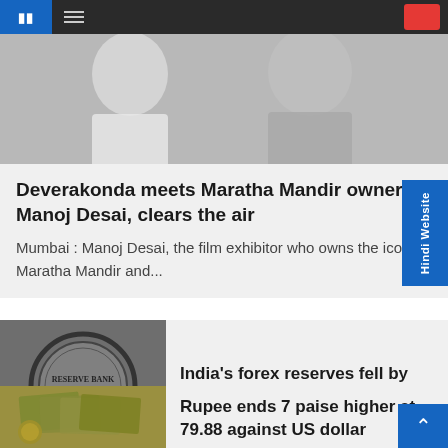Navigation bar
[Figure (photo): Photo of two people, one in white shirt and one in patterned grey jacket]
Deverakonda meets Maratha Mandir owner Manoj Desai, clears the air
Mumbai : Manoj Desai, the film exhibitor who owns the iconic Maratha Mandir and...
[Figure (photo): Reserve Bank of India logo/seal on building exterior]
India's forex reserves fell by $6.687 b to $564.053
[Figure (photo): Currency notes and coins — US dollar bills fanned out]
Rupee ends 7 paise higher at 79.88 against US dollar